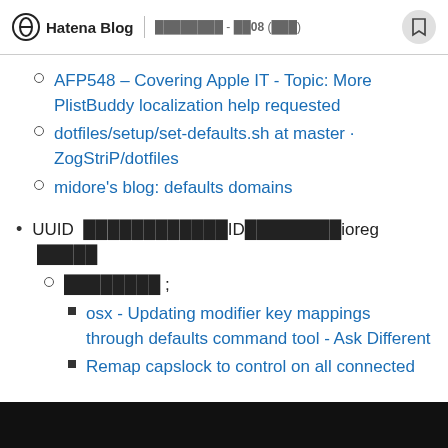Hatena Blog | ████████ - ██08 (███)
AFP548 – Covering Apple IT - Topic: More PlistBuddy localization help requested
dotfiles/setup/set-defaults.sh at master · ZogStriP/dotfiles
midore's blog: defaults domains
UUID ████████████ID████████ioreg █████
████████ ;
osx - Updating modifier key mappings through defaults command tool - Ask Different
Remap capslock to control on all connected keyboards from without restart even if th…